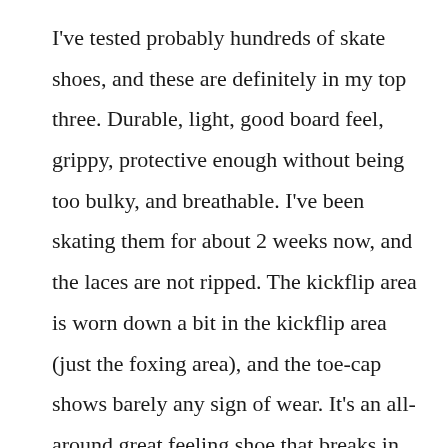I've tested probably hundreds of skate shoes, and these are definitely in my top three. Durable, light, good board feel, grippy, protective enough without being too bulky, and breathable. I've been skating them for about 2 weeks now, and the laces are not ripped. The kickflip area is worn down a bit in the kickflip area (just the foxing area), and the toe-cap shows barely any sign of wear. It's an all-around great feeling shoe that breaks in easily and skates well. I would say